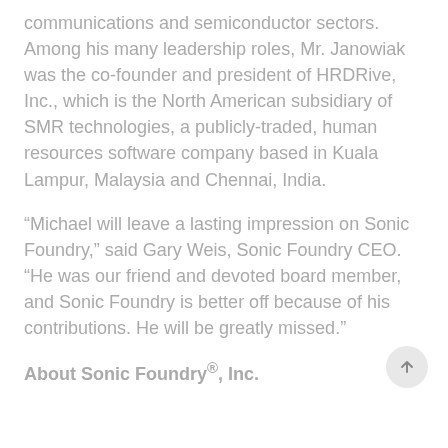communications and semiconductor sectors. Among his many leadership roles, Mr. Janowiak was the co-founder and president of HRDRive, Inc., which is the North American subsidiary of SMR technologies, a publicly-traded, human resources software company based in Kuala Lampur, Malaysia and Chennai, India.
“Michael will leave a lasting impression on Sonic Foundry,” said Gary Weis, Sonic Foundry CEO. “He was our friend and devoted board member, and Sonic Foundry is better off because of his contributions. He will be greatly missed.”
About Sonic Foundry®, Inc.